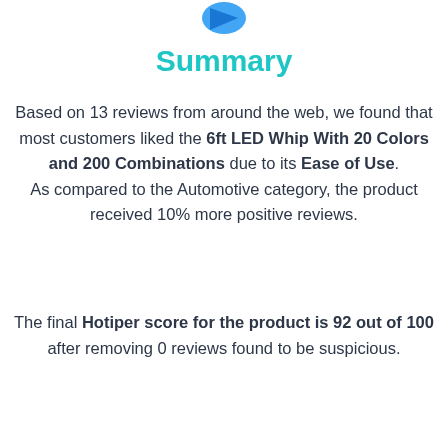[Figure (logo): Partial blue logo/icon visible at top center of page]
Summary
Based on 13 reviews from around the web, we found that most customers liked the 6ft LED Whip With 20 Colors and 200 Combinations due to its Ease of Use. As compared to the Automotive category, the product received 10% more positive reviews.
The final Hotiper score for the product is 92 out of 100 after removing 0 reviews found to be suspicious.